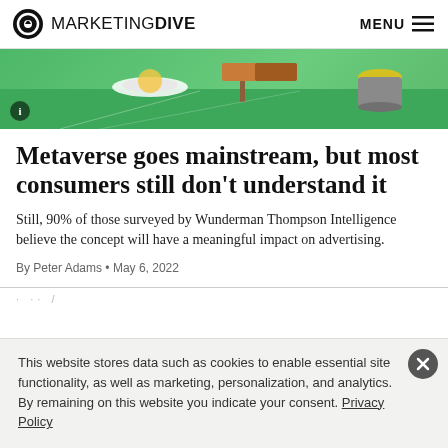MARKETING DIVE  MENU
[Figure (illustration): 3D illustrated metaverse scene with green environment, a plate of food, a signpost, and cylindrical objects on a green surface]
Metaverse goes mainstream, but most consumers still don't understand it
Still, 90% of those surveyed by Wunderman Thompson Intelligence believe the concept will have a meaningful impact on advertising.
By Peter Adams • May 6, 2022
This website stores data such as cookies to enable essential site functionality, as well as marketing, personalization, and analytics. By remaining on this website you indicate your consent. Privacy Policy